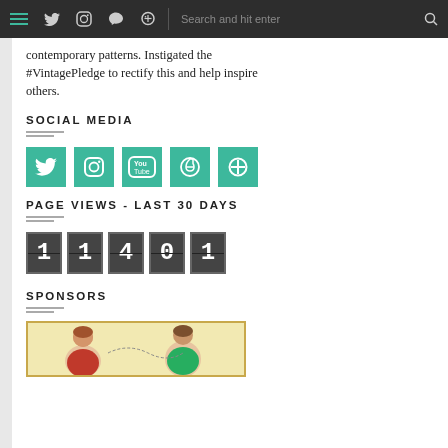Navigation header with hamburger menu, social icons (Twitter, Instagram, Pinterest), search bar
contemporary patterns. Instigated the #VintagePledge to rectify this and help inspire others.
SOCIAL MEDIA
[Figure (infographic): Five teal/green square social media icon buttons: Twitter, Instagram, YouTube, Pinterest, and a plus/add button]
PAGE VIEWS - LAST 30 DAYS
[Figure (infographic): Flip-counter style page view display showing the number 11401 in dark segmented digit boxes]
SPONSORS
[Figure (illustration): Vintage-style illustration showing two retro women figures on a cream/yellow background with gold border]